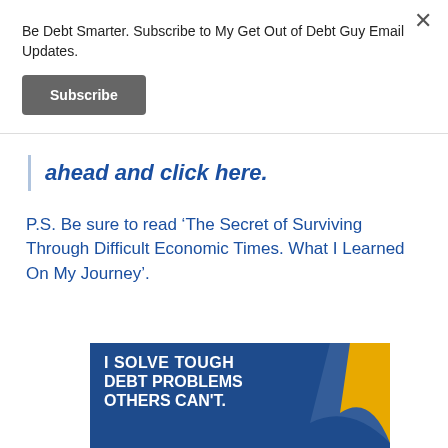Be Debt Smarter. Subscribe to My Get Out of Debt Guy Email Updates.
Subscribe
ahead and click here.
P.S. Be sure to read ‘The Secret of Surviving Through Difficult Economic Times. What I Learned On My Journey’.
[Figure (infographic): Blue and gold banner with text: I SOLVE TOUGH DEBT PROBLEMS OTHERS CAN'T. with a swoosh graphic.]